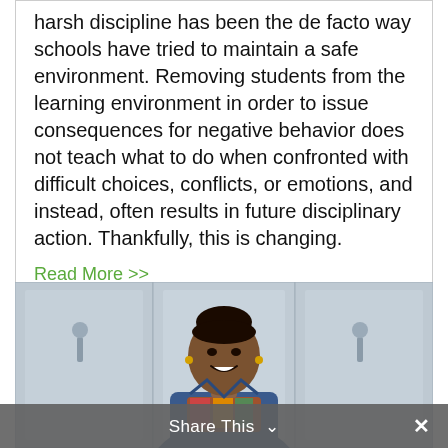harsh discipline has been the de facto way schools have tried to maintain a safe environment. Removing students from the learning environment in order to issue consequences for negative behavior does not teach what to do when confronted with difficult choices, conflicts, or emotions, and instead, often results in future disciplinary action. Thankfully, this is changing.
Read More >>
[Figure (photo): A smiling woman in a denim jacket standing in front of school lockers]
Share This ∨  ✕